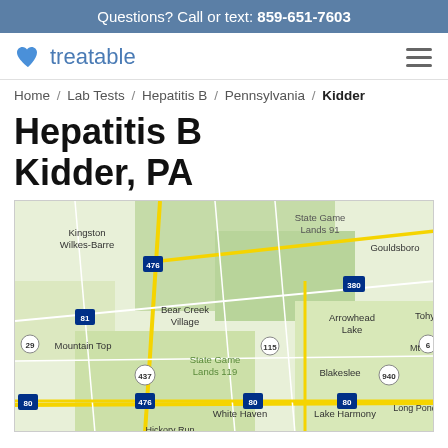Questions? Call or text: 859-651-7603
[Figure (logo): Treatable logo with blue heart icon and text 'treatable']
Home / Lab Tests / Hepatitis B / Pennsylvania / Kidder
Hepatitis B Kidder, PA
[Figure (map): Google Maps view of Kidder, PA area showing Kingston, Wilkes-Barre, Bear Creek Village, Mountain Top, State Game Lands 91, State Game Lands 119, Arrowhead Lake, Blakeslee, White Haven, Lake Harmony, Long Pond, Gouldsboro, Tobyhanna, and various route numbers including 80, 81, 115, 380, 437, 476, 940]